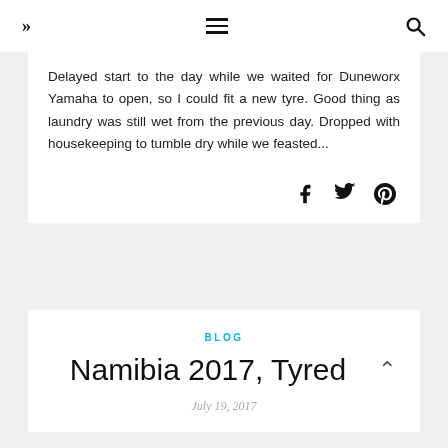»  ≡  🔍
Delayed start to the day while we waited for Duneworx Yamaha to open, so I could fit a new tyre. Good thing as laundry was still wet from the previous day. Dropped with housekeeping to tumble dry while we feasted...
BLOG
Namibia 2017, Tyred
July 19, 2017